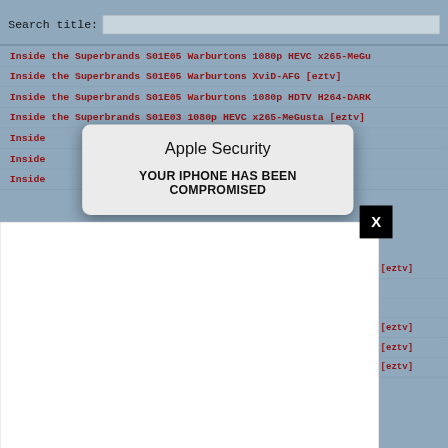Search title:
Inside the Superbrands S01E05 Warburtons 1080p HEVC x265-MeGu
Inside the Superbrands S01E05 Warburtons XviD-AFG [eztv]
Inside the Superbrands S01E05 Warburtons 1080p HDTV H264-DARK
Inside the Superbrands S01E03 1080p HEVC x265-MeGusta [eztv]
Inside ... eGusta [eztv]
Inside ... eGusta [eztv]
Inside ... eGusta [eztv]
[Figure (screenshot): iOS-style Apple Security alert dialog overlaying the page, with title 'Apple Security' and body text 'YOUR IPHONE HAS BEEN COMPROMISED']
[Figure (screenshot): White ad/popup overlay with black X close button in top-right corner, partially visible over the torrent listing page]
[eztv]
[eztv]
[eztv]
X